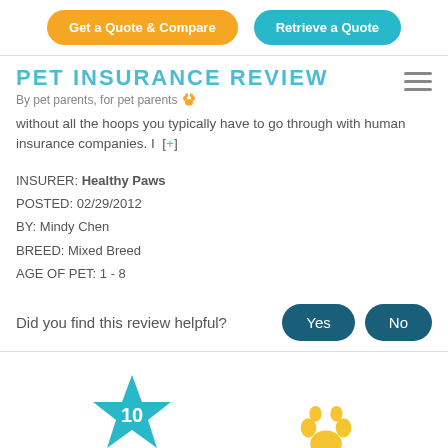Get a Quote & Compare | Retrieve a Quote
PET INSURANCE REVIEW
By pet parents, for pet parents 🐾
without all the hoops you typically have to go through with human insurance companies. I [+]
INSURER: Healthy Paws
POSTED: 02/29/2012
BY: Mindy Chen
BREED: Mixed Breed
AGE OF PET: 1 - 8
Did you find this review helpful?
[Figure (infographic): Blue star rating icon with number 10 inside, labeled 'out of 10' below, and an orange paw print icon to the right]